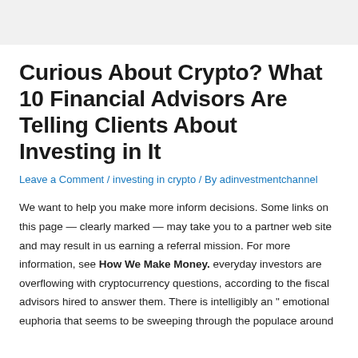Curious About Crypto? What 10 Financial Advisors Are Telling Clients About Investing in It
Leave a Comment / investing in crypto / By adinvestmentchannel
We want to help you make more inform decisions. Some links on this page — clearly marked — may take you to a partner web site and may result in us earning a referral mission. For more information, see How We Make Money. everyday investors are overflowing with cryptocurrency questions, according to the fiscal advisors hired to answer them. There is intelligibly an " emotional euphoria that seems to be sweeping through the populace around